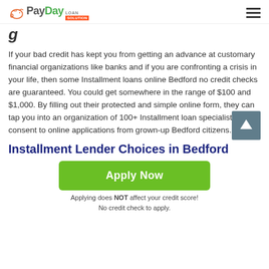PayDay Loan Solution
g
If your bad credit has kept you from getting an advance at customary financial organizations like banks and if you are confronting a crisis in your life, then some Installment loans online Bedford no credit checks are guaranteed. You could get somewhere in the range of $100 and $1,000. By filling out their protected and simple online form, they can tap you into an organization of 100+ Installment loan specialists who consent to online applications from grown-up Bedford citizens.
Installment Lender Choices in Bedford
[Figure (other): Green Apply Now button with text 'Apply Now']
Applying does NOT affect your credit score! No credit check to apply.